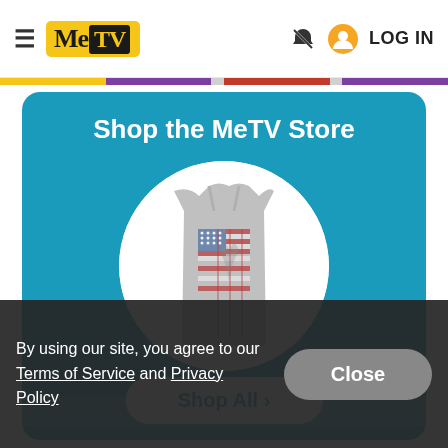≡  MeTV  [bell-slash icon] [user icon] LOG IN
Shop the MeTV Store
[Figure (photo): Gray tank top with faded American flag graphic (stars and stripes) on front, displayed on a white circular background]
M*A*S*H – Hang Em Up...
$18.95
Shop All >
By using our site, you agree to our Terms of Service and Privacy Policy
Close